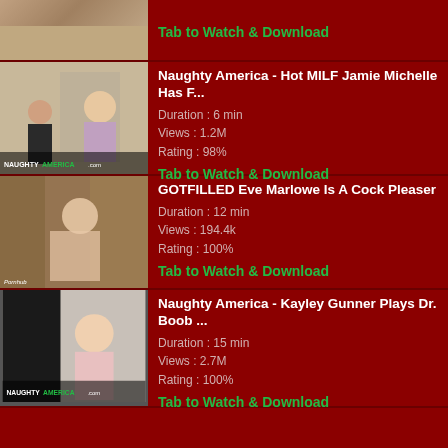[Figure (screenshot): Thumbnail image with NaughtyAmerica.com watermark - first card]
Tab to Watch & Download
[Figure (screenshot): Thumbnail image with NaughtyAmerica.com watermark - Jamie Michelle]
Naughty America - Hot MILF Jamie Michelle Has F...
Duration : 6 min
Views : 1.2M
Rating : 98%
Tab to Watch & Download
[Figure (screenshot): Thumbnail image - GOTFILLED Eve Marlowe outdoor scene]
GOTFILLED Eve Marlowe Is A Cock Pleaser
Duration : 12 min
Views : 194.4k
Rating : 100%
Tab to Watch & Download
[Figure (screenshot): Thumbnail image with NaughtyAmerica.com watermark - Kayley Gunner]
Naughty America - Kayley Gunner Plays Dr. Boob ...
Duration : 15 min
Views : 2.7M
Rating : 100%
Tab to Watch & Download